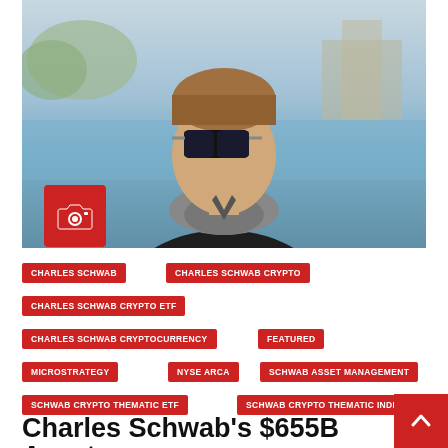[Figure (photo): Photo of a man wearing dark sunglasses and a dark jacket with fleece collar, standing outdoors near a body of water with trees in the background. A red camera icon badge is overlaid in the lower-left of the image.]
CHARLES SCHWAB
CHARLES SCHWAB CRYPTO
CHARLES SCHWAB CRYPTO ETF
CHARLES SCHWAB CRYPTOCURRENCY
FEATURED
MICROSTRATEGY
NYSE ARCA
SCHWAB ASSET MANAGEMENT
SCHWAB CRYPTO THEMATIC ETF
SCHWAB CRYPTO THEMATIC INDEX
Charles Schwab's $655B Asset